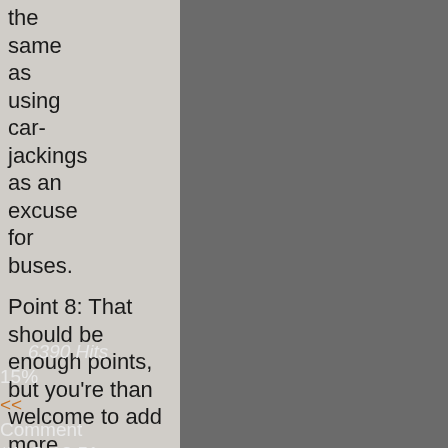the same as using car-jackings as an excuse for buses.
Point 8: That should be enough points, but you're than welcome to add more.
6390 Hits 15%
<< Comment #1 @ 13:51 CST, 11